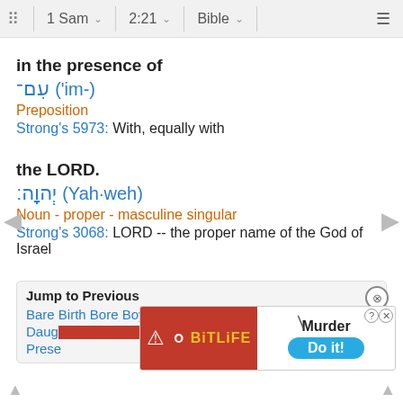1 Sam  2:21  Bible
in the presence of
עִם־ ('im-)
Preposition
Strong's 5973: With, equally with
the LORD.
יְהוָֽה׃ (Yah·weh)
Noun - proper - masculine singular
Strong's 3068: LORD -- the proper name of the God of Israel
Jump to Previous
Bare Birth Bore Boy Child Conceived Conceived Death Daughter Presence